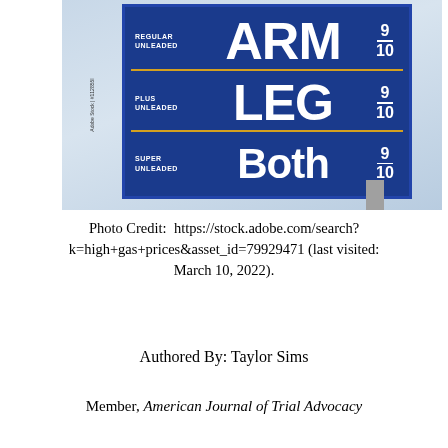[Figure (photo): Photograph of a gas station price sign with a blue background showing three fuel grades: REGULAR UNLEADED priced 'ARM 9/10', PLUS UNLEADED priced 'LEG 9/10', and SUPER UNLEADED priced 'Both 9/10'. The sign is humorous, substituting body parts for dollar amounts. Adobe Stock watermark visible on left edge.]
Photo Credit:  https://stock.adobe.com/search?k=high+gas+prices&asset_id=79929471 (last visited: March 10, 2022).
Authored By: Taylor Sims
Member, American Journal of Trial Advocacy